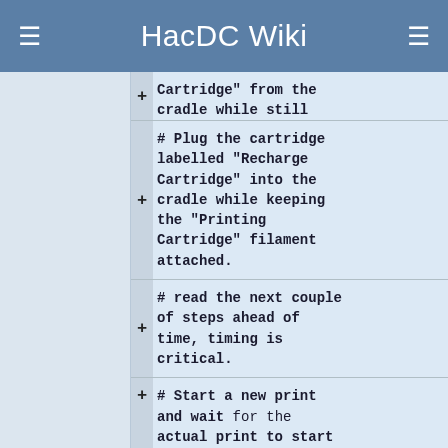HacDC Wiki
Cartridge" from the cradle while still keeping the filament attached to the cube.
# Plug the cartridge labelled "Recharge Cartridge" into the cradle while keeping the "Printing Cartridge" filament attached.
# read the next couple of steps ahead of time, timing is critical.
# Start a new print and wait for the actual print to start